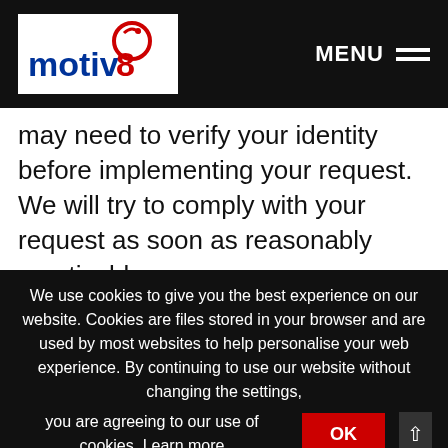motiv8 — MENU
may need to verify your identity before implementing your request. We will try to comply with your request as soon as reasonably practicable.
Please note that we may need to retain certain information for recordkeeping purposes and/or to complete any transactions that you began prior to requesting a change or deletion. There may also be residual information that will remain within our databases and other records, which will not be removed
We use cookies to give you the best experience on our website. Cookies are files stored in your browser and are used by most websites to help personalise your web experience. By continuing to use our website without changing the settings, you are agreeing to our use of cookies. Learn more OK